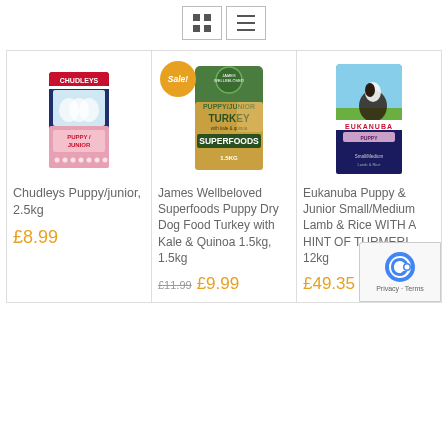[Figure (screenshot): View toggle buttons: grid view and list view icons]
[Figure (photo): Chudleys Puppy/Junior 2.5kg dog food bag]
Chudleys Puppy/junior, 2.5kg
£8.99
[Figure (photo): James Wellbeloved Superfoods Puppy Dry Dog Food Turkey with Kale & Quinoa 1.5kg bag with Sale badge]
James Wellbeloved Superfoods Puppy Dry Dog Food Turkey with Kale & Quinoa 1.5kg, 1.5kg
£11.99  £9.99
[Figure (photo): Eukanuba Puppy & Junior Small/Medium Lamb & Rice WITH A HINT OF TURMERIC 12kg bag]
Eukanuba Puppy & Junior Small/Medium Lamb & Rice WITH A HINT OF TURMERIC 12kg
£49.35